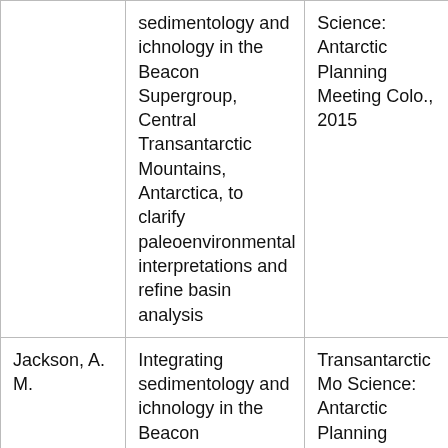| Author | Title | Conference/Publication |
| --- | --- | --- |
|  | sedimentology and ichnology in the Beacon Supergroup, Central Transantarctic Mountains, Antarctica, to clarify paleoenvironmental interpretations and refine basin analysis | Science: Antarctic Planning Meeting Colo., 2015 |
| Jackson, A. M. | Integrating sedimentology and ichnology in the Beacon Supergroup, Central Transantarctic Mountains, Antarctica, to clarify paleoenvironmental interpretations and refine basin analysis | Transantarctic Mo Science: Antarctic Planning Meeting Colo., 2015 |